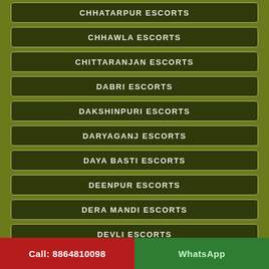CHHATARPUR ESCORTS
CHHAWLA ESCORTS
CHITTARANJAN ESCORTS
DABRI ESCORTS
DAKSHINPURI ESCORTS
DARYAGANJ ESCORTS
DAYA BASTI ESCORTS
DEENPUR ESCORTS
DERA MANDI ESCORTS
DEVLI ESCORTS
DHAULA KUAN ESCORTS
FATEH NAGAR ESCORTS
Call: 8864810098   WhatsApp